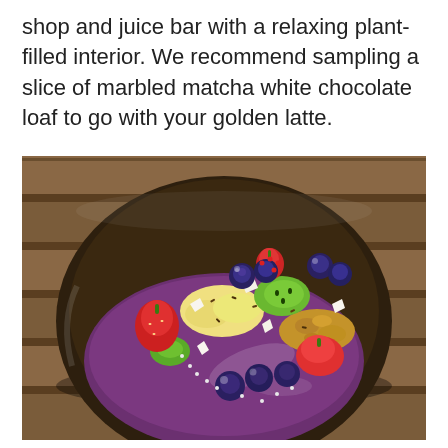shop and juice bar with a relaxing plant-filled interior. We recommend sampling a slice of marbled matcha white chocolate loaf to go with your golden latte.
[Figure (photo): A smoothie bowl served in a dark coconut shell bowl, topped with fresh fruits including strawberries, blueberries, kiwi, banana slices, coconut flakes, granola, pomegranate seeds, and hemp seeds over a purple acai base. The bowl is placed on a wooden slatted surface.]